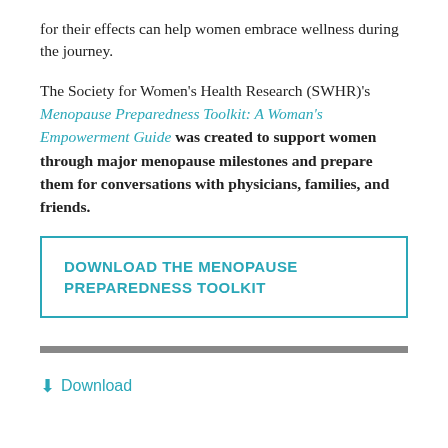for their effects can help women embrace wellness during the journey.
The Society for Women's Health Research (SWHR)'s Menopause Preparedness Toolkit: A Woman's Empowerment Guide was created to support women through major menopause milestones and prepare them for conversations with physicians, families, and friends.
DOWNLOAD THE MENOPAUSE PREPAREDNESS TOOLKIT
↓ Download